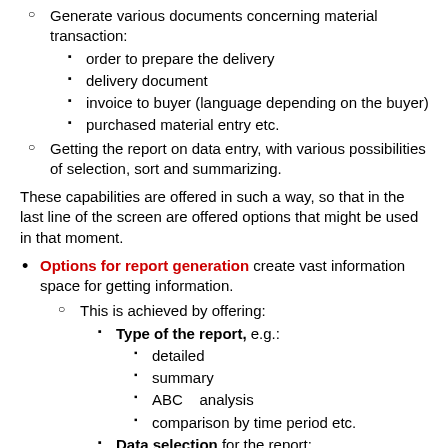Generate various documents concerning material transaction:
order to prepare the delivery
delivery document
invoice to buyer (language depending on the buyer)
purchased material entry etc.
Getting the report on data entry, with various possibilities of selection, sort and summarizing.
These capabilities are offered in such a way, so that in the last line of the screen are offered options that might be used in that moment.
Options for report generation create vast information space for getting information.
This is achieved by offering:
Type of the report, e.g.:
detailed
summary
ABC    analysis
comparison by time period etc.
Data selection for the report:
by elements of data sets covered by